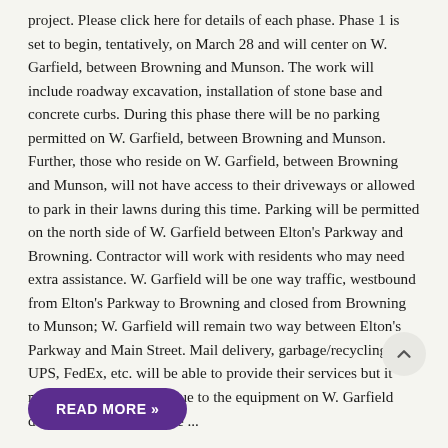project. Please click here for details of each phase. Phase 1 is set to begin, tentatively, on March 28 and will center on W. Garfield, between Browning and Munson. The work will include roadway excavation, installation of stone base and concrete curbs. During this phase there will be no parking permitted on W. Garfield, between Browning and Munson. Further, those who reside on W. Garfield, between Browning and Munson, will not have access to their driveways or allowed to park in their lawns during this time. Parking will be permitted on the north side of W. Garfield between Elton's Parkway and Browning. Contractor will work with residents who may need extra assistance. W. Garfield will be one way traffic, westbound from Elton's Parkway to Browning and closed from Browning to Munson; W. Garfield will remain two way between Elton's Parkway and Main Street. Mail delivery, garbage/recycling, UPS, FedEx, etc. will be able to provide their services but it may take a little longer due to the equipment on W. Garfield during this Phase. For the ...
READ MORE »